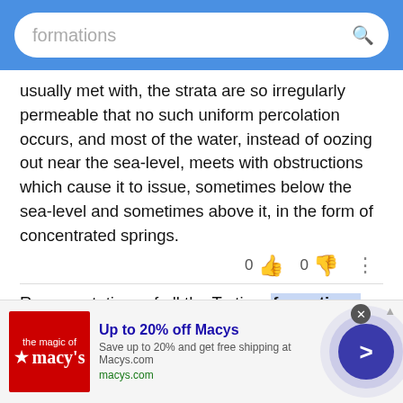formations [search bar]
usually met with, the strata are so irregularly permeable that no such uniform percolation occurs, and most of the water, instead of oozing out near the sea-level, meets with obstructions which cause it to issue, sometimes below the sea-level and sometimes above it, in the form of concentrated springs.
0  [thumbs up]  0  [thumbs down]  [more options]
Representatives of all the Tertiary formations are met with in Turkestan; but while in the highlands the strata are coast-deposits, they assume an open sea character in the lowlands, and their rich fossil
[Figure (infographic): Macy's advertisement banner: Up to 20% off Macys. Save up to 20% and get free shipping at Macys.com. macys.com]